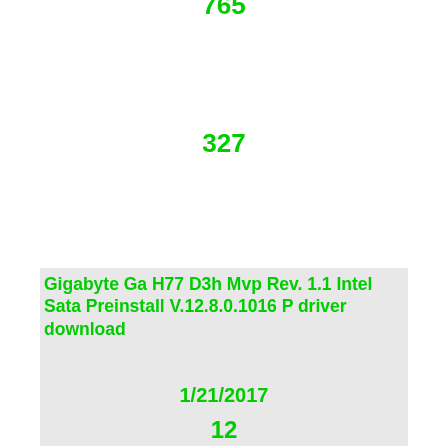765
327
Gigabyte Ga H77 D3h Mvp Rev. 1.1 Intel Sata Preinstall V.12.8.0.1016 P driver download
1/21/2017
12
Available
779